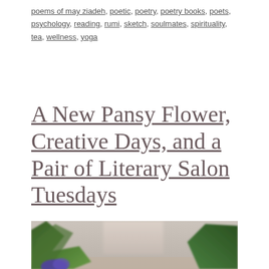poems of may ziadeh, poetic, poetry, poetry books, poets, psychology, reading, rumi, sketch, soulmates, spirituality, tea, wellness, yoga
A New Pansy Flower, Creative Days, and a Pair of Literary Salon Tuesdays
[Figure (photo): A blurry close-up photograph of green plants (possibly herbs or leafy plants) in front of a window, with a purple pansy flower visible at the bottom left. The background shows a light, out-of-focus window with warm outdoor tones.]